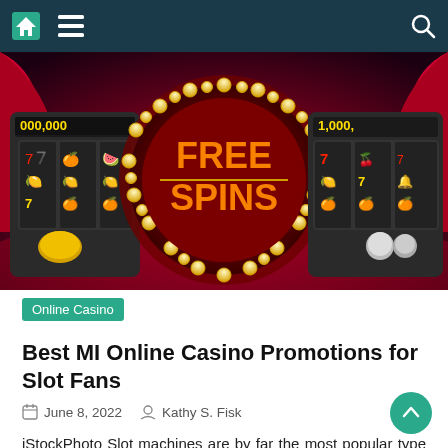Navigation bar with home icon, menu icon, and search icon
[Figure (photo): Casino slot machines with a glowing red circle in the center showing 'FREE SPINS' text in gold/orange neon letters, surrounded by light bulbs. Slot machine reels visible on left and right showing fruit symbols. Score displays show 000,000 and 1,000, on a red stage background.]
Online Casino
Best MI Online Casino Promotions for Slot Fans
June 8, 2022   Kathy S. Fisk
iStockPhoto Slot machines are by far the most popular type of casino game. They are just as attractive to small players as they are to high rollers, as they can produce big wins worth hundreds or even thousands of times the base bet. To